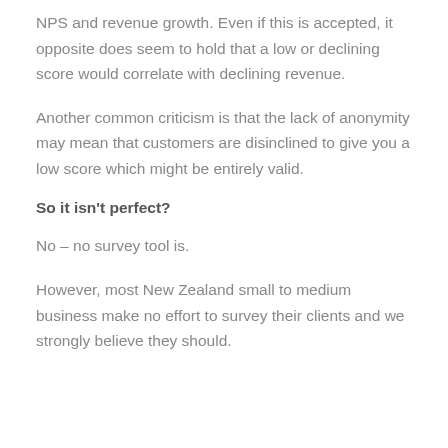NPS and revenue growth. Even if this is accepted, it opposite does seem to hold that a low or declining score would correlate with declining revenue.
Another common criticism is that the lack of anonymity may mean that customers are disinclined to give you a low score which might be entirely valid.
So it isn't perfect?
No – no survey tool is.
However, most New Zealand small to medium business make no effort to survey their clients and we strongly believe they should.